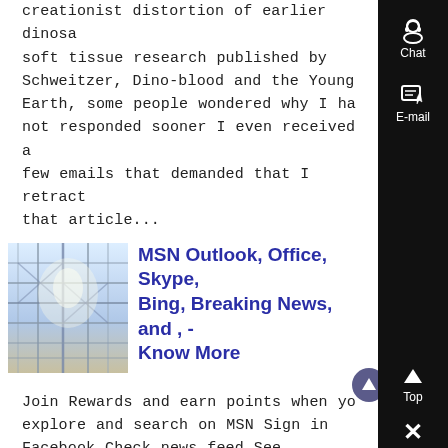creationist distortion of earlier dinosaur soft tissue research published by Schweitzer, Dino-blood and the Young Earth, some people wondered why I had not responded sooner I even received a few emails that demanded that I retract that article...
[Figure (photo): Construction scaffolding interior, bright light visible through framework]
MSN Outlook, Office, Skype, Bing, Breaking News, and , - Know More
Join Rewards and earn points when you explore and search on MSN Sign in Facebook Check news feed See notifications View messages Confirm friend requests Like MSN on Facebook